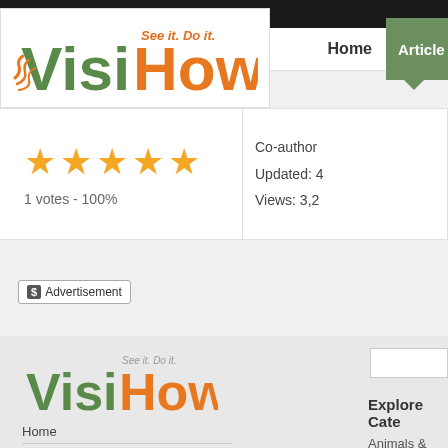[Figure (logo): VisiHow logo — 'Visi' in green, 'How' in orange, tagline 'See it. Do it.' in orange small text above 'How']
Home  Articles
1 votes - 100%
Co-author
Updated: 4
Views: 3,2
Advertisement
[Figure (logo): VisiHow footer logo — 'Visi' in green, 'How' in orange, tagline 'See it. Do it.' in gray small text]
Home
About VisiHow
Terms of Use
Explore Cate
Animals & Pet
Author Help